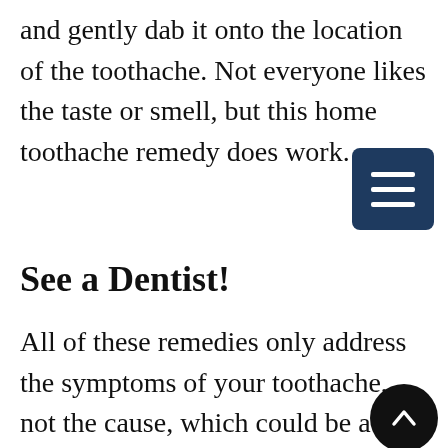and gently dab it onto the location of the toothache. Not everyone likes the taste or smell, but this home toothache remedy does work.
See a Dentist!
All of these remedies only address the symptoms of your toothache, not the cause, which could be a cracked tooth, a cavity, or an infection. If you have a toothache, please contact